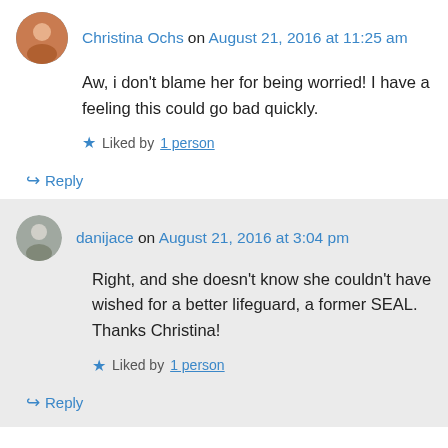Christina Ochs on August 21, 2016 at 11:25 am
Aw, i don't blame her for being worried! I have a feeling this could go bad quickly.
Liked by 1 person
Reply
danijace on August 21, 2016 at 3:04 pm
Right, and she doesn't know she couldn't have wished for a better lifeguard, a former SEAL. Thanks Christina!
Liked by 1 person
Reply